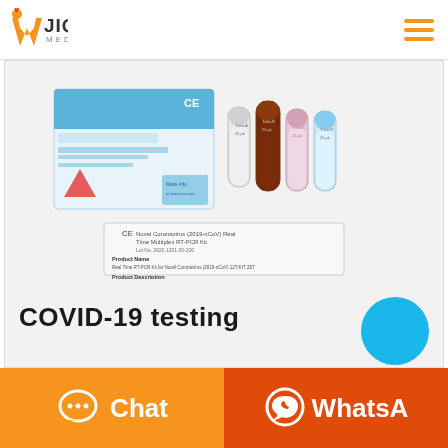[Figure (logo): W JIQING MEDICAL logo with orange W icon and text]
[Figure (photo): COVID-19 Real Time Multiplex RT-PCR Kit product image showing blue/white box and four test tubes, along with a product label sheet below]
COVID-19 testing
Chat
WhatsA